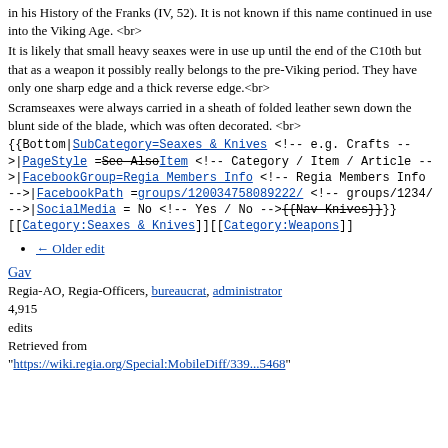in his History of the Franks (IV, 52). It is not known if this name continued in use into the Viking Age. <br>
It is likely that small heavy seaxes were in use up until the end of the C10th but that as a weapon it possibly really belongs to the pre-Viking period. They have only one sharp edge and a thick reverse edge.<br>
Scramseaxes were always carried in a sheath of folded leather sewn down the blunt side of the blade, which was often decorated. <br>
{{Bottom|SubCategory=Seaxes & Knives <!-- e.g. Crafts -->|PageStyle =See AlsoItem <!-- Category / Item / Article -->|FacebookGroup=Regia Members Info <!-- Regia Members Info -->|FacebookPath =groups/120034758089222/ <!-- groups/1234/ -->|SocialMedia = No <!-- Yes / No -->{{Nav Knives}}
[[Category:Seaxes & Knives]][[Category:Weapons]]
← Older edit
Gav
Regia-AO, Regia-Officers, bureaucrat, administrator
4,915
edits
Retrieved from "https://wiki.regia.org/Special:MobileDiff/339...5468"